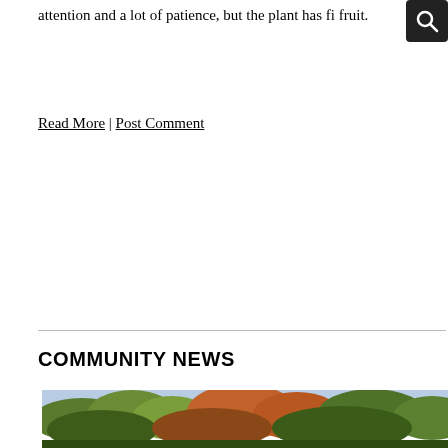attention and a lot of patience, but the plant has fi... fruit.
Read More | Post Comment
COMMUNITY NEWS
[Figure (photo): Outdoor photo showing trees with autumn foliage against a light sky, cropped at the bottom of the page.]